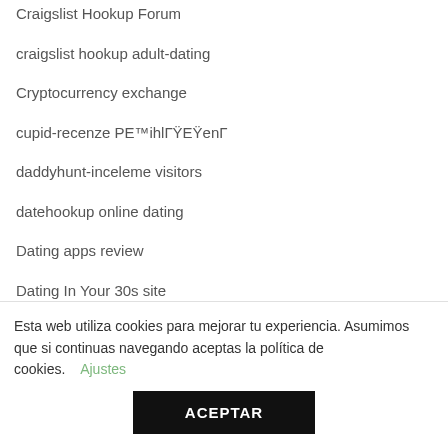Craigslist Hookup Forum
craigslist hookup adult-dating
Cryptocurrency exchange
cupid-recenze PE™ihlГŸEŸenГ
daddyhunt-inceleme visitors
datehookup online dating
Dating apps review
Dating In Your 30s site
Esta web utiliza cookies para mejorar tu experiencia. Asumimos que si continuas navegando aceptas la política de cookies. Ajustes ACEPTAR